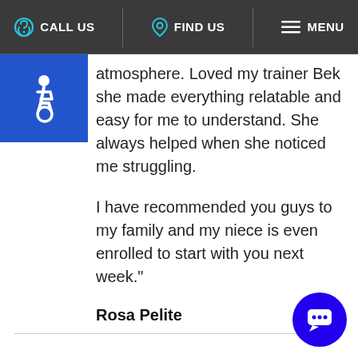CALL US   FIND US   MENU
[Figure (illustration): Blue square with white wheelchair accessibility icon]
atmosphere. Loved my trainer Bek she made everything relatable and easy for me to understand. She always helped when she noticed me struggling.

I have recommended you guys to my family and my niece is even enrolled to start with you next week."
Rosa Pelite